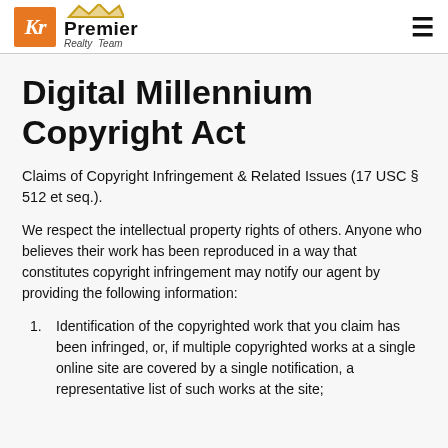KR Premier Realty Team
Digital Millennium Copyright Act
Claims of Copyright Infringement & Related Issues (17 USC § 512 et seq.).
We respect the intellectual property rights of others. Anyone who believes their work has been reproduced in a way that constitutes copyright infringement may notify our agent by providing the following information:
Identification of the copyrighted work that you claim has been infringed, or, if multiple copyrighted works at a single online site are covered by a single notification, a representative list of such works at the site;